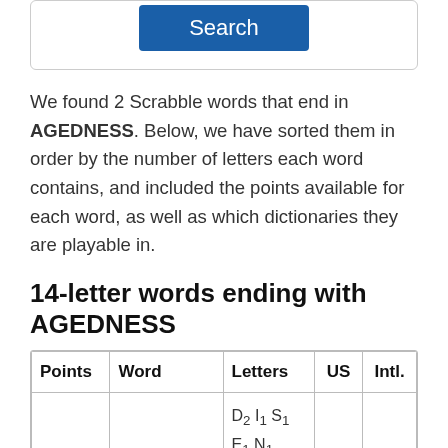[Figure (screenshot): Search button inside a bordered box]
We found 2 Scrabble words that end in AGEDNESS. Below, we have sorted them in order by the number of letters each word contains, and included the points available for each word, as well as which dictionaries they are playable in.
14-letter words ending with AGEDNESS
| Points | Word | Letters | US | Intl. |
| --- | --- | --- | --- | --- |
|  |  | D₂ I₁ S₁ E₁ N₁ |  |  |